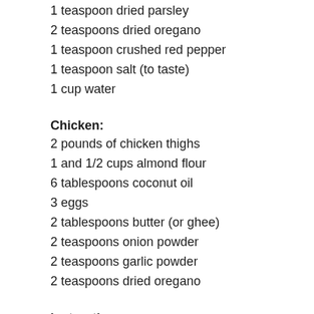1 teaspoon dried parsley
2 teaspoons dried oregano
1 teaspoon crushed red pepper
1 teaspoon salt (to taste)
1 cup water
Chicken:
2 pounds of chicken thighs
1 and 1/2 cups almond flour
6 tablespoons coconut oil
3 eggs
2 tablespoons butter (or ghee)
2 teaspoons onion powder
2 teaspoons garlic powder
2 teaspoons dried oregano
Instructions
Cook onions and garlic in oil until tender, about five minutes. Add in the rest of the sauce ingredients, mix